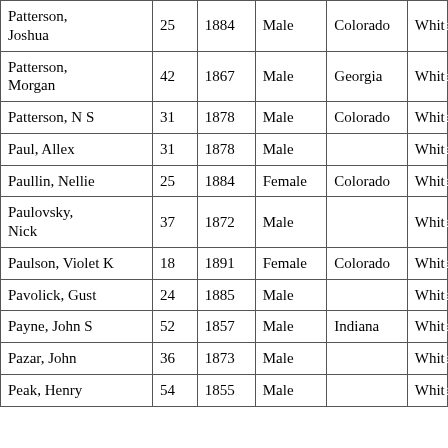| Name | Age | Year | Sex | Birthplace | Race |
| --- | --- | --- | --- | --- | --- |
| Patterson, Joshua | 25 | 1884 | Male | Colorado | White |
| Patterson, Morgan | 42 | 1867 | Male | Georgia | White |
| Patterson, N S | 31 | 1878 | Male | Colorado | White |
| Paul, Allex | 31 | 1878 | Male |  | White |
| Paullin, Nellie | 25 | 1884 | Female | Colorado | White |
| Paulovsky, Nick | 37 | 1872 | Male |  | White |
| Paulson, Violet K | 18 | 1891 | Female | Colorado | White |
| Pavolick, Gust | 24 | 1885 | Male |  | White |
| Payne, John S | 52 | 1857 | Male | Indiana | White |
| Pazar, John | 36 | 1873 | Male |  | White |
| Peak, Henry | 54 | 1855 | Male |  | White |